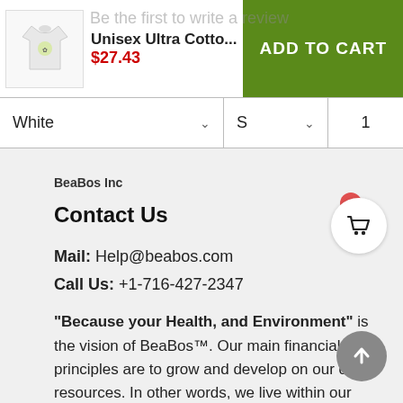Be the first to write a review
Unisex Ultra Cotto... $27.43
ADD TO CART
White  S  1
BeaBos Inc
Contact Us
Mail: Help@beabos.com
Call Us: +1-716-427-2347
"Because your Health, and Environment" is the vision of BeaBos™. Our main financial principles are to grow and develop on our own resources. In other words, we live within our means so that we can make long-term investments for the future.